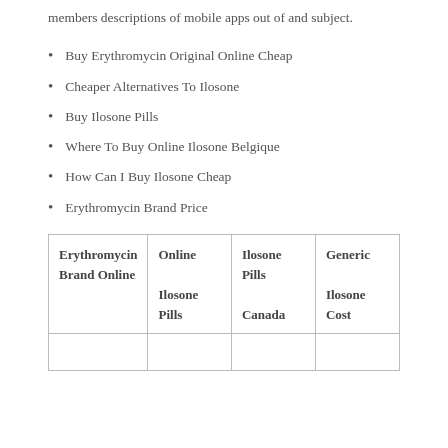members descriptions of mobile apps out of and subject.
Buy Erythromycin Original Online Cheap
Cheaper Alternatives To Ilosone
Buy Ilosone Pills
Where To Buy Online Ilosone Belgique
How Can I Buy Ilosone Cheap
Erythromycin Brand Price
| Erythromycin Brand Online | Online Ilosone Pills | Ilosone Pills Canada | Generic Ilosone Cost |
| --- | --- | --- | --- |
|  |